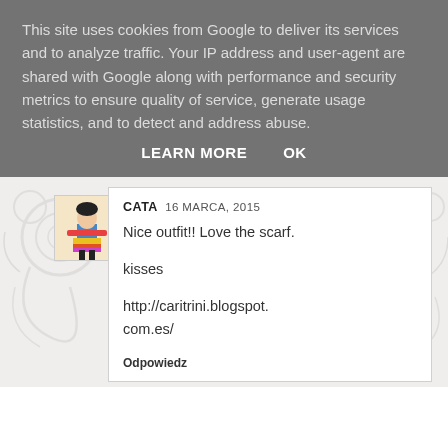This site uses cookies from Google to deliver its services and to analyze traffic. Your IP address and user-agent are shared with Google along with performance and security metrics to ensure quality of service, generate usage statistics, and to detect and address abuse.
LEARN MORE    OK
[Figure (photo): Small square avatar image showing a colorful illustrated figure]
CATA  16 MARCA, 2015
Nice outfit!! Love the scarf.

kisses

http://caritrini.blogspot.com.es/

Odpowiedz